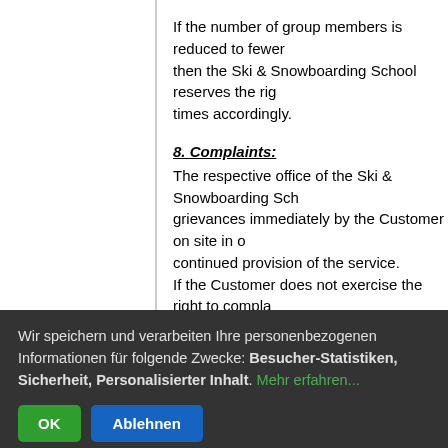If the number of group members is reduced to fewer then the Ski & Snowboarding School reserves the right to adjust times accordingly.
8. Complaints:
The respective office of the Ski & Snowboarding School must be informed of any grievances immediately by the Customer on site in order to enable continued provision of the service.
If the Customer does not exercise the right to complain during the service provision then any claims for reduction of the price lapse.
Other claims against the Ski & Snowboarding School must be filed respectively no later than four weeks after occurrence.
9. Liability-related information and recommendations
Wir speichern und verarbeiten Ihre personenbezogenen Informationen für folgende Zwecke: Besucher-Statistiken, Sicherheit, Personalisierter Inhalt. Mehr erfahren...
OK   Ablehnen